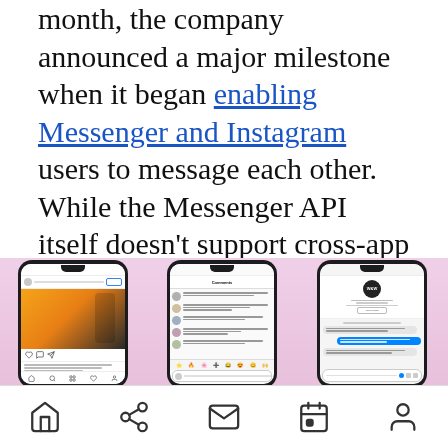month, the company announced a major milestone when it began enabling Messenger and Instagram users to message each other. While the Messenger API itself doesn't support cross-app communication, this latest expansion will put Instagram on more equal footing as a business communications platform.
[Figure (photo): Three smartphone screens showing Instagram app interfaces: a post with a fashion photo, a comments section, and a direct message conversation with a business profile.]
Home, Share, Mail, Calendar, Profile navigation icons